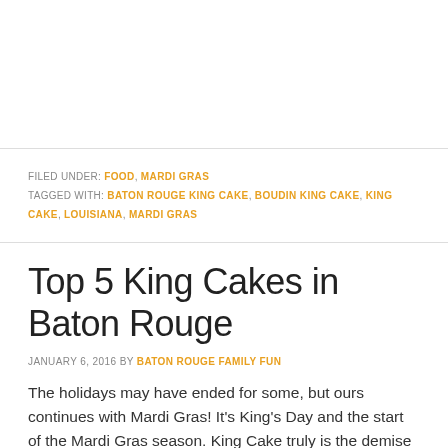FILED UNDER: FOOD, MARDI GRAS
TAGGED WITH: BATON ROUGE KING CAKE, BOUDIN KING CAKE, KING CAKE, LOUISIANA, MARDI GRAS
Top 5 King Cakes in Baton Rouge
JANUARY 6, 2016 BY BATON ROUGE FAMILY FUN
The holidays may have ended for some, but ours continues with Mardi Gras! It's King's Day and the start of the Mardi Gras season. King Cake truly is the demise of many New Year's